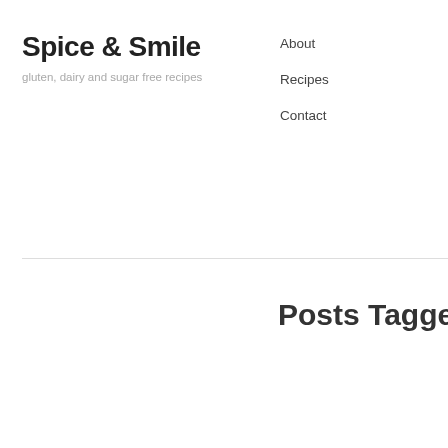Spice & Smile
gluten, dairy and sugar free recipes
About
Recipes
Contact
Posts Tagged: a